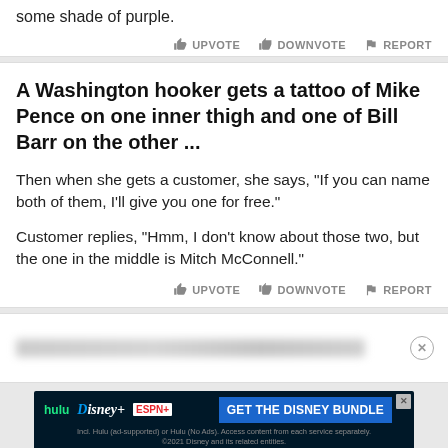some shade of purple.
UPVOTE  DOWNVOTE  REPORT
A Washington hooker gets a tattoo of Mike Pence on one inner thigh and one of Bill Barr on the other ...
Then when she gets a customer, she says, "If you can name both of them, I'll give you one for free."
Customer replies, "Hmm, I don't know about those two, but the one in the middle is Mitch McConnell."
UPVOTE  DOWNVOTE  REPORT
[Figure (other): Blurred/redacted content card with close button]
[Figure (other): Advertisement banner for Disney Bundle featuring Hulu, Disney+, ESPN+]
This joke was Continue...